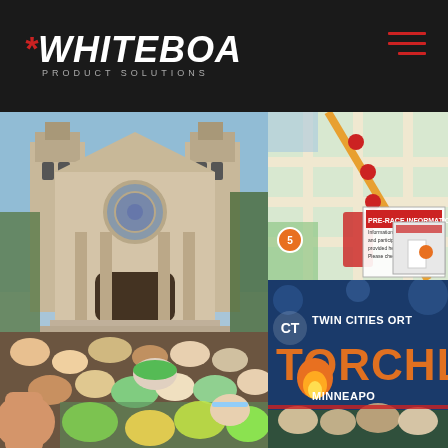[Figure (logo): Whiteboard Product Solutions logo — white hand-lettered text with red asterisk star, on dark background, with hamburger menu icon in red on right]
[Figure (photo): Large crowd of runners gathered in front of a grand stone church (Basilica of Saint Mary, Minneapolis) on a sunny day, viewed from behind the crowd; a hand raised in foreground]
[Figure (map): Race route map for Twin Cities Orthopaedics Torchlight Run in Minneapolis showing streets and route markers in red on a city map]
[Figure (photo): Twin Cities Orthopaedics Torchlight Minneapolis race signage banner in dark blue with orange flame logo and white text]